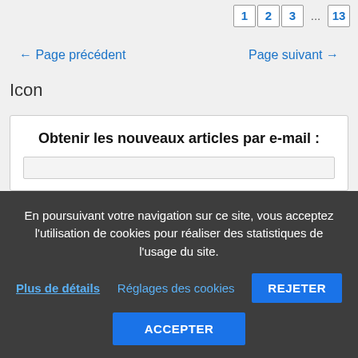1 2 3 ... 13
← Page précédent    Page suivant →
Icon
Obtenir les nouveaux articles par e-mail :
En poursuivant votre navigation sur ce site, vous acceptez l'utilisation de cookies pour réaliser des statistiques de l'usage du site.
Plus de détails    Réglages des cookies    REJETER    ACCEPTER